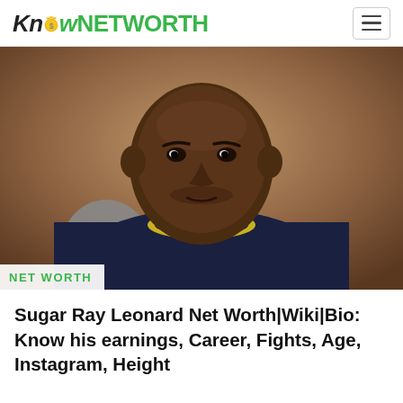KnowNETWORTH
[Figure (photo): Portrait photo of Sugar Ray Leonard, a Black man wearing a dark navy/black sweater with a yellow collar, photographed against a warm brown/tan background. He is looking directly at the camera with a neutral expression.]
NET WORTH
Sugar Ray Leonard Net Worth|Wiki|Bio: Know his earnings, Career, Fights, Age, Instagram, Height